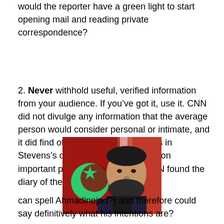would the reporter have a green light to start opening mail and reading private correspondence?
2. Never withhold useful, verified information from your audience. If you've got it, use it. CNN did not divulge any information that the average person would consider personal or intimate, and it did find other sorts of observations in Stevens's diary that have a bearing on important public issues. What if CNN found the diary of the leader of Iran (who
[Figure (photo): Photograph of Mahmoud Ahmadinejad in front of flags including a crescent and star flag]
can spell Ahmadinejad?) and therefore could say definitively what his intentions are?